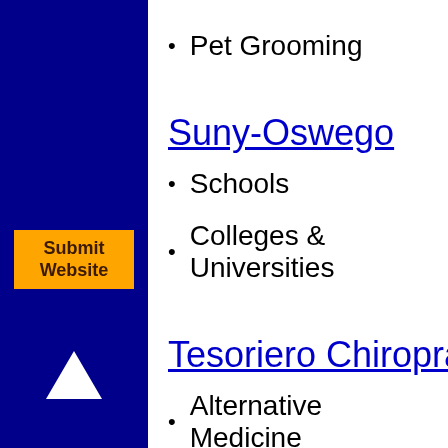Pet Grooming
Suny-Oswego
Schools
Colleges & Universities
Tesoriero Chiropractic Office PC
Alternative Medicine
Chiropractors